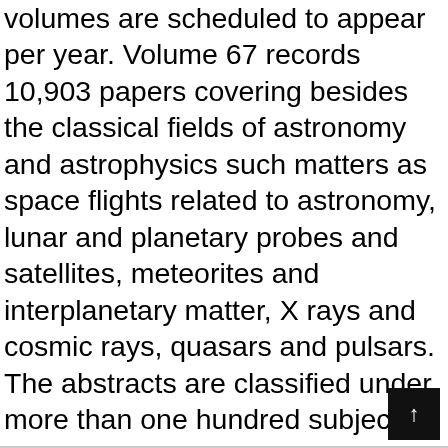astronomical publications throughout the world. Five volumes are scheduled to appear per year. Volume 67 records 10,903 papers covering besides the classical fields of astronomy and astrophysics such matters as space flights related to astronomy, lunar and planetary probes and satellites, meteorites and interplanetary matter, X rays and cosmic rays, quasars and pulsars. The abstracts are classified under more than one hundred subject categories thus permitting quick surveying of the bulk of material published on the same topic within six months. For instance, this volume records 119 papers on minor planets, 155 papers on supernovae, and 554 papers on cosmology.